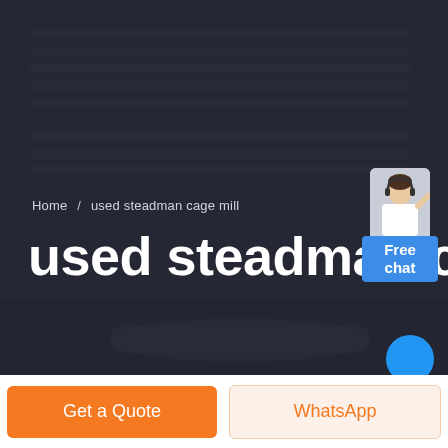[Figure (photo): Dark background hero image showing a person in a striped shirt with dark overlay, used as a website page header background.]
Home / used steadman cage mill
used steadman cage mill
[Figure (illustration): Customer service chat widget showing a person avatar and a blue 'Free chat' button in the top-right corner.]
[Figure (other): Blue circular chat/message button at bottom right of hero section.]
Get a Quote
WhatsApp